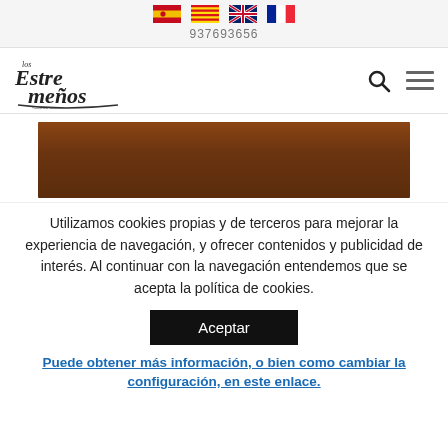[Figure (other): Language flag icons: Spanish, Catalan, UK/English, French]
937693656
[Figure (logo): Los Extremeños logo with cursive text]
[Figure (photo): Photo of hanging cured meat products (hams/sausages) with decorative flags]
Utilizamos cookies propias y de terceros para mejorar la experiencia de navegación, y ofrecer contenidos y publicidad de interés. Al continuar con la navegación entendemos que se acepta la política de cookies.
Aceptar
Puede obtener más información, o bien como cambiar la configuración, en este enlace.